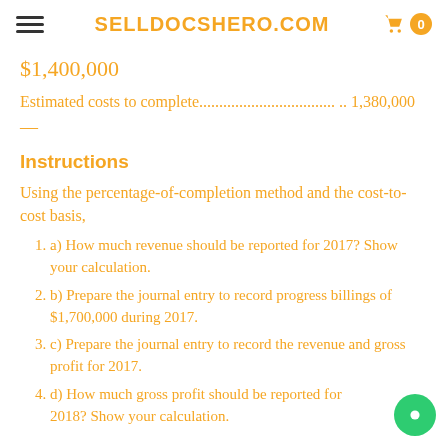SELLDOCSHERO.COM
$1,400,000
Estimated costs to complete.................................. .. 1,380,000
—
Instructions
Using the percentage-of-completion method and the cost-to-cost basis,
a) How much revenue should be reported for 2017? Show your calculation.
b) Prepare the journal entry to record progress billings of $1,700,000 during 2017.
c) Prepare the journal entry to record the revenue and gross profit for 2017.
d) How much gross profit should be reported for 2018? Show your calculation.